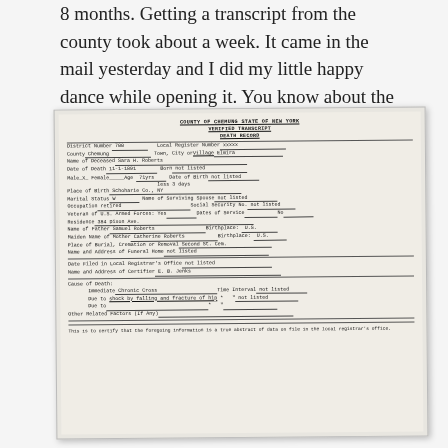8 months. Getting a transcript from the county took about a week. It came in the mail yesterday and I did my little happy dance while opening it. You know about the happy dance, don't you?
[Figure (other): Scanned verified transcript death record from County of Chemung, State of New York. Shows fields for: District Number 700, Local Register Number, County Chemung, Town/City/Village Elmira, Name of Deceased Sara H. Roberts, Date of Death 11-1-1891, Born not listed, Male/Female, Age 71yrs, Date of Birth not listed, less 3 days, Place of Birth Schoharie Co. NY, Marital Status W, Name of Surviving Spouse not listed, Occupation retired, Social Security No. not listed, Veteran of U.S. Armed Forces Yes, Date of Service No, Residence 384 Dixon Ave., Name of Father Samuel Roberts, Birthplace U.S., Maiden Name of Mother Catherine Roberts, Birthplace U.S., Place of Burial/Cremation or Removal Second St. Cem., Name and Address of Funeral Home not listed, Date Filed in Local Registrar's Office not listed, Name and Address of Certifier E.B. Jenks, Cause of Death: Immediate Chronic Cross Time Interval not listed, Due to shock by falling and fracture of hip, not listed, Other Related Factors (If Any), certification text at bottom.]